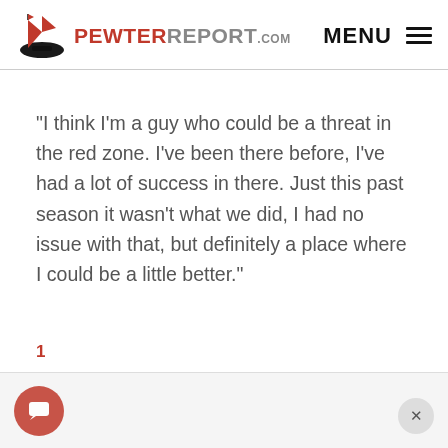PewterReport.com  MENU ≡
“I think I’m a guy who could be a threat in the red zone. I’ve been there before, I’ve had a lot of success in there. Just this past season it wasn’t what we did, I had no issue with that, but definitely a place where I could be a little better.”
1